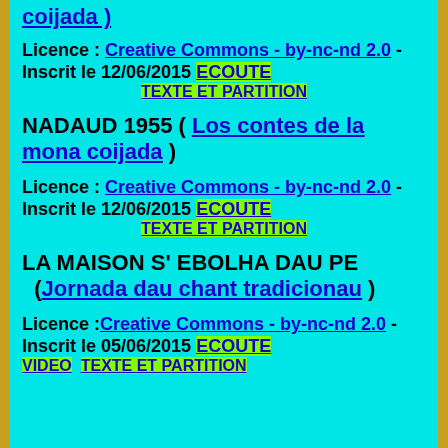coijada )
Licence : Creative Commons - by-nc-nd 2.0 - Inscrit le 12/06/2015 ECOUTE TEXTE ET PARTITION
NADAUD 1955 ( Los contes de la mona coijada )
Licence : Creative Commons - by-nc-nd 2.0 - Inscrit le 12/06/2015 ECOUTE TEXTE ET PARTITION
LA MAISON S' EBOLHA DAU PE ( Jornada dau chant tradicionau )
Licence : Creative Commons - by-nc-nd 2.0 - Inscrit le 05/06/2015 ECOUTE VIDEO TEXTE ET PARTITION